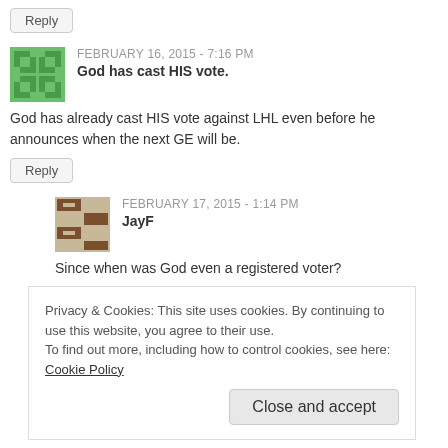Reply
FEBRUARY 16, 2015 - 7:16 PM
God has cast HIS vote.
God has already cast HIS vote against LHL even before he announces when the next GE will be.
Reply
FEBRUARY 17, 2015 - 1:14 PM
JayF
Since when was God even a registered voter?
Reply
Privacy & Cookies: This site uses cookies. By continuing to use this website, you agree to their use.
To find out more, including how to control cookies, see here: Cookie Policy
Close and accept